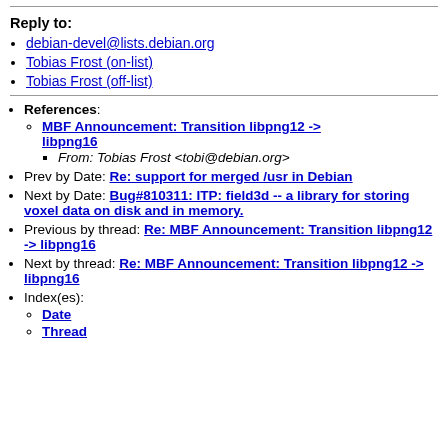Reply to:
debian-devel@lists.debian.org
Tobias Frost (on-list)
Tobias Frost (off-list)
References: MBF Announcement: Transition libpng12 -> libpng16 — From: Tobias Frost <tobi@debian.org>
Prev by Date: Re: support for merged /usr in Debian
Next by Date: Bug#810311: ITP: field3d -- a library for storing voxel data on disk and in memory.
Previous by thread: Re: MBF Announcement: Transition libpng12 -> libpng16
Next by thread: Re: MBF Announcement: Transition libpng12 -> libpng16
Index(es): Date, Thread